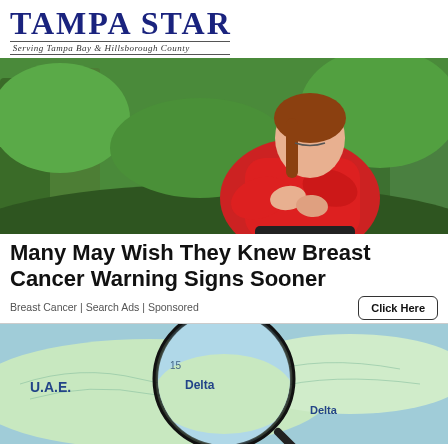Tampa Star — Serving Tampa Bay & Hillsborough County
[Figure (photo): Woman in red shirt clutching her chest in pain, standing outdoors among green trees]
Many May Wish They Knew Breast Cancer Warning Signs Sooner
Breast Cancer | Search Ads | Sponsored
Click Here
[Figure (photo): Magnifying glass over a map showing U.A.E. and Delta region]